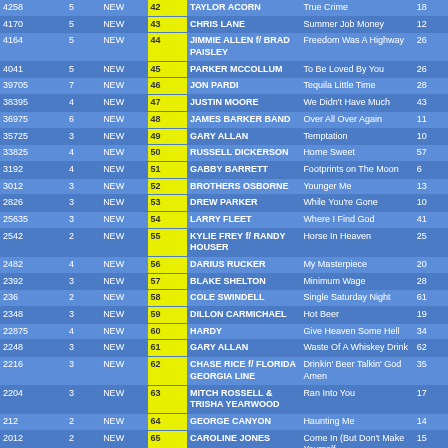| Spins | Stations | Move | Rank | Artist | Song | Weeks |
| --- | --- | --- | --- | --- | --- | --- |
| 4258 | 5 | NEW | 42 | TAYLOR ACORN | True Crime | 18 |
| 4170 | 5 | NEW | 43 | CHRIS LANE | Summer Job Money | 12 |
| 4164 | 5 | NEW | 44 | JIMMIE ALLEN f/ BRAD PAISLEY | Freedom Was A Highway | 26 |
| 4041 | 5 | NEW | 45 | PARKER MCCOLLUM | To Be Loved By You | 26 |
| 39705 | 7 | NEW | 46 | JON PARDI | Tequila Little Time | 28 |
| 38395 | 4 | NEW | 47 | JUSTIN MOORE | We Didn't Have Much | 43 |
| 36975 | 6 | NEW | 48 | JAMES BARKER BAND | Over All Over Again | 11 |
| 35725 | 3 | NEW | 49 | GARY ALLAN | Temptation | 10 |
| 33825 | 4 | NEW | 50 | RUSSELL DICKERSON | Home Sweet | 57 |
| 3192 | 4 | NEW | 51 | GABBY BARRETT | Footprints on The Moon | 6 |
| 3012 | 3 | NEW | 52 | BROTHERS OSBORNE | Younger Me | 13 |
| 2826 | 3 | NEW | 53 | DREW PARKER | While You're Gone | 10 |
| 25635 | 3 | NEW | 54 | LARRY FLEET | Where I Find God | 41 |
| 2542 | 2 | NEW | 55 | KYLIE FREY f/ RANDY HOUSER | Horse In Heaven | 25 |
| 2482 | 4 | NEW | 56 | DARIUS RUCKER | My Masterpiece | 20 |
| 2392 | 3 | NEW | 57 | BLAKE SHELTON | Minimum Wage | 28 |
| 236 | 2 | NEW | 58 | COLE SWINDELL | Single Saturday Night | 61 |
| 2348 | 3 | NEW | 59 | DILLON CARMICHAEL | Hot Beer | 19 |
| 22875 | 4 | NEW | 60 | HARDY | Give Heaven Some Hell | 34 |
| 2248 | 3 | NEW | 61 | GARY ALLAN | Waste Of A Whiskey Drink | 62 |
| 2216 | 3 | NEW | 62 | CHASE RICE f/ FLORIDA GEORGIA LINE | Drinkin' Beer Talkin' God Amen | 35 |
| 2204 | 3 | NEW | 63 | MITCH ROSSELL & TRISHA YEARWOOD | Ran Into You | 17 |
| 212 | 2 | NEW | 64 | GEORGE CANYON | Haunting Me | 14 |
| 2012 | 2 | NEW | 65 | CAROLINE JONES | Come In (But Don't Make Yourself | 15 |